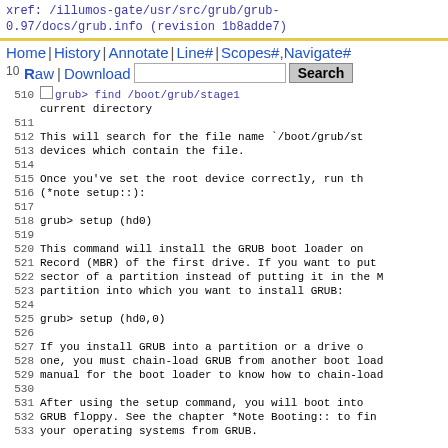xref: /illumos-gate/usr/src/grub/grub-0.97/docs/grub.info (revision 1b8adde7)
Home | History | Annotate | Line# | Scopes# | Navigate#
10Raw | Download [Search box] Search
510 grub> find /boot/grub/stage1
current directory
511
512    This will search for the file name `/boot/grub/st
513 devices which contain the file.
514
515    Once you've set the root device correctly, run th
516 (*note setup::):
517
518       grub> setup (hd0)
519
520    This command will install the GRUB boot loader on
521 Record (MBR) of the first drive. If you want to put
522 sector of a partition instead of putting it in the M
523 partition into which you want to install GRUB:
524
525       grub> setup (hd0,0)
526
527    If you install GRUB into a partition or a drive o
528 one, you must chain-load GRUB from another boot load
529 manual for the boot loader to know how to chain-load
530
531    After using the setup command, you will boot into
532 GRUB floppy. See the chapter *Note Booting:: to fin
533 your operating systems from GRUB.